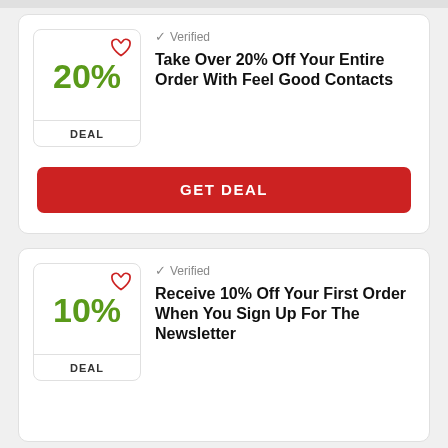[Figure (infographic): Coupon deal card showing 20% discount badge with heart icon, verified checkmark, deal title, and GET DEAL button]
✓ Verified
Take Over 20% Off Your Entire Order With Feel Good Contacts
GET DEAL
[Figure (infographic): Coupon deal card showing 10% discount badge with heart icon, verified checkmark, and deal title]
✓ Verified
Receive 10% Off Your First Order When You Sign Up For The Newsletter